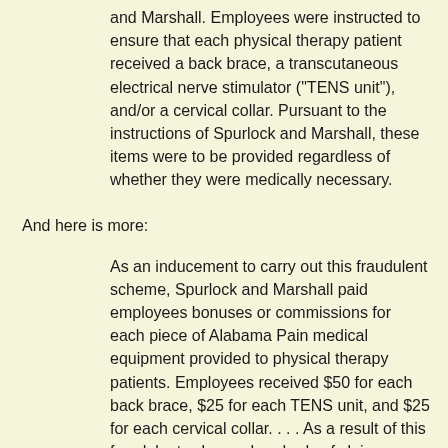and Marshall. Employees were instructed to ensure that each physical therapy patient received a back brace, a transcutaneous electrical nerve stimulator ("TENS unit"), and/or a cervical collar. Pursuant to the instructions of Spurlock and Marshall, these items were to be provided regardless of whether they were medically necessary.
And here is more:
As an inducement to carry out this fraudulent scheme, Spurlock and Marshall paid employees bonuses or commissions for each piece of Alabama Pain medical equipment provided to physical therapy patients. Employees received $50 for each back brace, $25 for each TENS unit, and $25 for each cervical collar. . . . As a result of this fraudulent scheme, hundreds of claims were submitted to Medicare for medical equipment that was not medically necessary